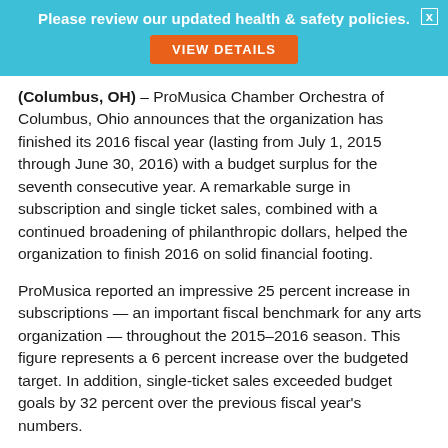Please review our updated health & safety policies. VIEW DETAILS
(Columbus, OH) – ProMusica Chamber Orchestra of Columbus, Ohio announces that the organization has finished its 2016 fiscal year (lasting from July 1, 2015 through June 30, 2016) with a budget surplus for the seventh consecutive year. A remarkable surge in subscription and single ticket sales, combined with a continued broadening of philanthropic dollars, helped the organization to finish 2016 on solid financial footing.
ProMusica reported an impressive 25 percent increase in subscriptions — an important fiscal benchmark for any arts organization — throughout the 2015–2016 season. This figure represents a 6 percent increase over the budgeted target. In addition, single-ticket sales exceeded budget goals by 32 percent over the previous fiscal year's numbers.
“We remain focused and committed to taking artistic